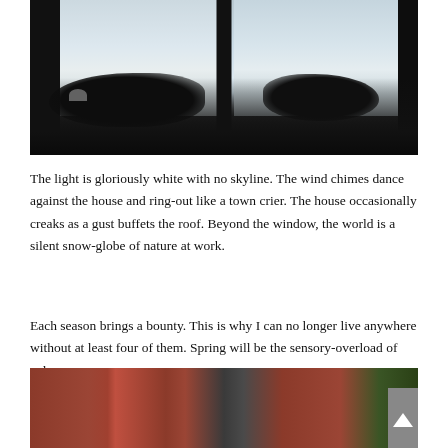[Figure (photo): Interior view looking out through a dark-framed window at a snowy winter landscape. Silhouetted bushes and a satellite dish are visible in the foreground on the windowsill.]
The light is gloriously white with no skyline. The wind chimes dance against the house and ring-out like a town crier. The house occasionally creaks as a gust buffets the roof. Beyond the window, the world is a silent snow-globe of nature at work.
Each season brings a bounty. This is why I can no longer live anywhere without at least four of them. Spring will be the sensory-overload of color.
[Figure (photo): Exterior view of a red-sided house or cabin with dark window frames, surrounded by green trees, partially cropped at the bottom of the page.]